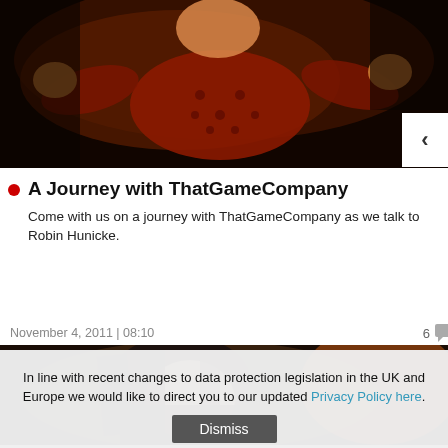[Figure (photo): Photo of a performer in a red polka-dot costume on a dark stage, arms outstretched. A white navigation arrow (left chevron) overlays the bottom-right corner.]
A Journey with ThatGameCompany
Come with us on a journey with ThatGameCompany as we talk to Robin Hunicke.
November 4, 2011 | 08:10    6
[Figure (photo): Close-up screenshot or artwork of an anime-style character with dark hair, partially obscured.]
In line with recent changes to data protection legislation in the UK and Europe we would like to direct you to our updated Privacy Policy here.
Dismiss